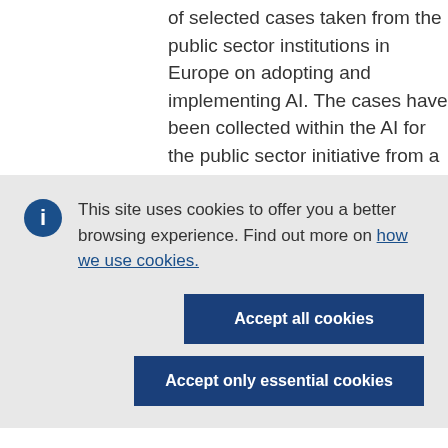of selected cases taken from the public sector institutions in Europe on adopting and implementing AI. The cases have been collected within the AI for the public sector initiative from a series of activities (surveys, work...
This site uses cookies to offer you a better browsing experience. Find out more on how we use cookies.
Accept all cookies
Accept only essential cookies